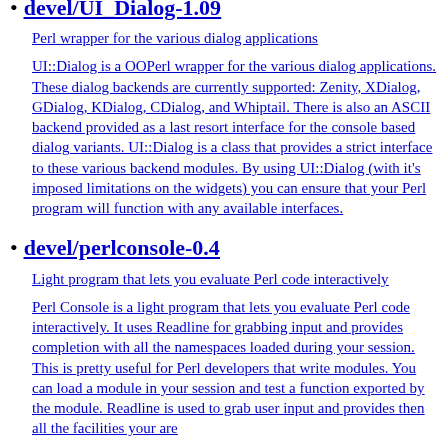devel/UI_Dialog-1.09
Perl wrapper for the various dialog applications
UI::Dialog is a OOPerl wrapper for the various dialog applications. These dialog backends are currently supported: Zenity, XDialog, GDialog, KDialog, CDialog, and Whiptail. There is also an ASCII backend provided as a last resort interface for the console based dialog variants. UI::Dialog is a class that provides a strict interface to these various backend modules. By using UI::Dialog (with it's imposed limitations on the widgets) you can ensure that your Perl program will function with any available interfaces.
devel/perlconsole-0.4
Light program that lets you evaluate Perl code interactively
Perl Console is a light program that lets you evaluate Perl code interactively. It uses Readline for grabbing input and provides completion with all the namespaces loaded during your session. This is pretty useful for Perl developers that write modules. You can load a module in your session and test a function exported by the module. Readline is used to grab user input and provides then all the facilities your are